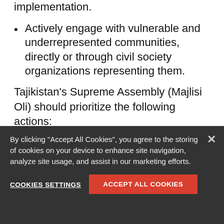budget formulation and to monitor budget implementation.
Actively engage with vulnerable and underrepresented communities, directly or through civil society organizations representing them.
Tajikistan's Supreme Assembly (Majlisi Oli) should prioritize the following actions:
Allow members of the public or civil society
By clicking “Accept All Cookies”, you agree to the storing of cookies on your device to enhance site navigation, analyze site usage, and assist in our marketing efforts.
COOKIES SETTINGS
ACCEPT ALL COOKIES